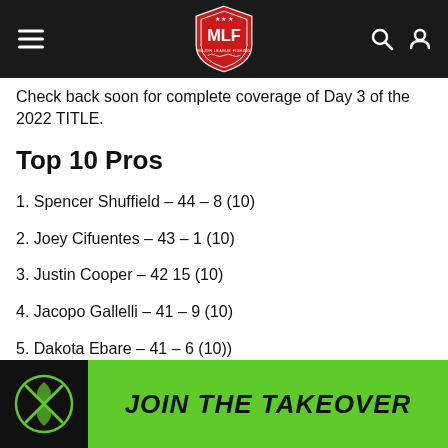MLF Major League Fishing
Check back soon for complete coverage of Day 3 of the 2022 TITLE.
Top 10 Pros
1. Spencer Shuffield – 44 – 8 (10)
2. Joey Cifuentes – 43 – 1 (10)
3. Justin Cooper – 42 15 (10)
4. Jacopo Gallelli – 41 – 9 (10)
5. Dakota Ebare – 41 – 6 (10))
6. Kurt Mitchell – 40 – 10 (10)
7. Kyle Cortiana – 40 – 5 (10)
[Figure (logo): JOIN THE TAKEOVER advertisement banner with green background and circular logo]